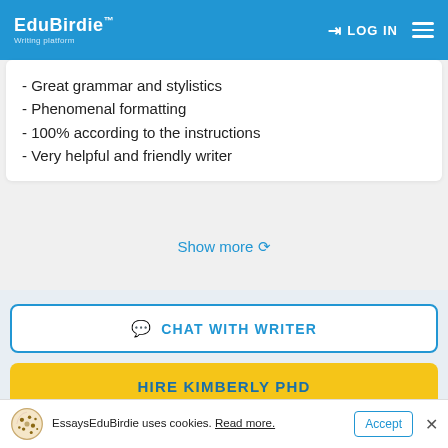EduBirdie™ Writing platform | LOG IN
- Great grammar and stylistics
- Phenomenal formatting
- 100% according to the instructions
- Very helpful and friendly writer
Show more ↺
CHAT WITH WRITER
HIRE KIMBERLY PHD
EssaysEduBirdie uses cookies. Read more.